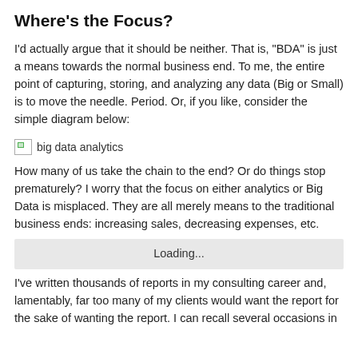Where's the Focus?
I'd actually argue that it should be neither. That is, "BDA" is just a means towards the normal business end. To me, the entire point of capturing, storing, and analyzing any data (Big or Small) is to move the needle. Period. Or, if you like, consider the simple diagram below:
[Figure (other): Broken image placeholder labeled 'big data analytics']
How many of us take the chain to the end? Or do things stop prematurely? I worry that the focus on either analytics or Big Data is misplaced. They are all merely means to the traditional business ends: increasing sales, decreasing expenses, etc.
[Figure (other): Loading bar placeholder]
I've written thousands of reports in my consulting career and, lamentably, far too many of my clients would want the report for the sake of wanting the report. I can recall several occasions in